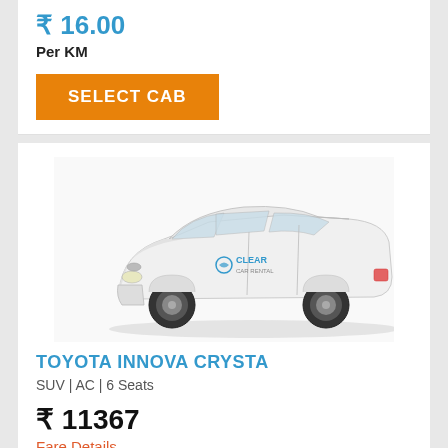₹ 16.00
Per KM
SELECT CAB
[Figure (photo): White Toyota Innova Crysta SUV with Clear Car Rental branding on the door]
TOYOTA INNOVA CRYSTA
SUV | AC | 6 Seats
₹ 11367
Fare Details
₹ 18.00
Per KM